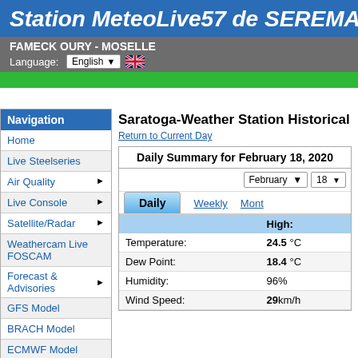Station MeteoLive57 de SEREMAN
FAMECK OURY - MOSELLE
Language: English
Navigation
Home
Live Steelseries
Air Quality ▶
Live Console ▶
Satellite/Radar ▶
Weathercam Live FOSCAM
Forecast & Advisories ▶
GFS Model
BRACH Model
ECMWF Model
Almanac ▶
Saratoga-Weather Station Historical
Return to Current Day
Daily Summary for February 18, 2020
|  | High: |
| --- | --- |
| Temperature: | 24.5 °C |
| Dew Point: | 18.4 °C |
| Humidity: | 96% |
| Wind Speed: | 29km/h |